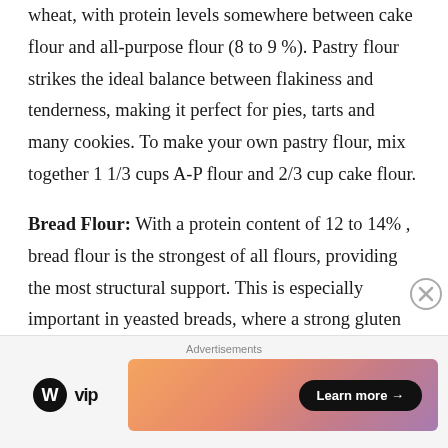wheat, with protein levels somewhere between cake flour and all-purpose flour (8 to 9 %). Pastry flour strikes the ideal balance between flakiness and tenderness, making it perfect for pies, tarts and many cookies. To make your own pastry flour, mix together 1 1/3 cups A-P flour and 2/3 cup cake flour.
Bread Flour: With a protein content of 12 to 14% , bread flour is the strongest of all flours, providing the most structural support. This is especially important in yeasted breads, where a strong gluten network is required to contain the CO2 gases
[Figure (infographic): Advertisement banner with WordPress VIP logo on the left and a colorful gradient banner with a 'Learn more →' button on the right. A close (X) button appears in the top-right corner of the ad area.]